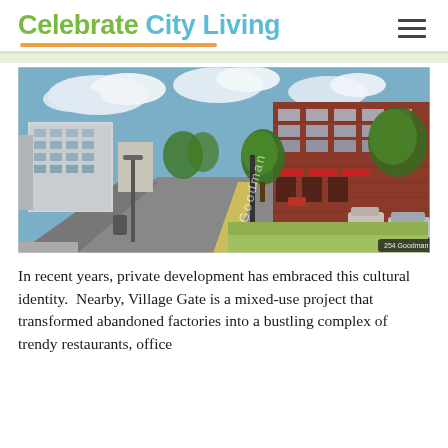Celebrate City Living
[Figure (photo): Street view photo of Goodman Street N showing a mixed-use urban street with brick apartment/commercial buildings on the right, office buildings on the left, parked and passing cars, trees, and a Google Street View label reading '254 Goodman St N']
In recent years, private development has embraced this cultural identity.  Nearby, Village Gate is a mixed-use project that transformed abandoned factories into a bustling complex of trendy restaurants, office